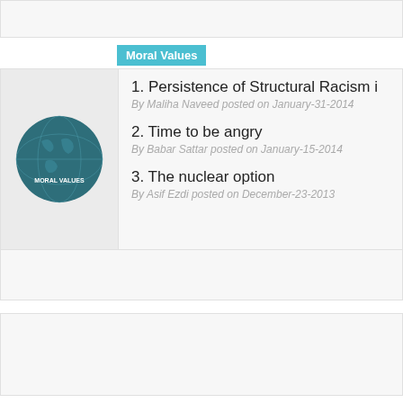Moral Values
[Figure (illustration): Globe illustration with text MORAL VALUES]
1. Persistence of Structural Racism i
By Maliha Naveed posted on January-31-2014
2. Time to be angry
By Babar Sattar posted on January-15-2014
3. The nuclear option
By Asif Ezdi posted on December-23-2013
Politics